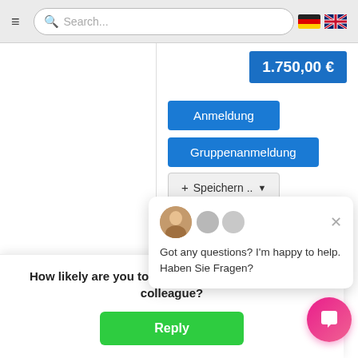Navigation bar with hamburger menu, search box, and language flags (DE/UK)
[Figure (screenshot): Price badge showing 1.750,00 € in blue]
[Figure (screenshot): Anmeldung blue button]
[Figure (screenshot): Gruppenanmeldung blue button]
[Figure (screenshot): Speichern dropdown button]
[Figure (screenshot): Details button]
Usa... Leh... Usa... Boa... Vor...
[Figure (screenshot): Chat popup with avatar: Got any questions? I'm happy to help. Haben Sie Fragen?]
How likely are you to recommend us to a friend or colleague?
[Figure (screenshot): Reply green button and pink chat circle button]